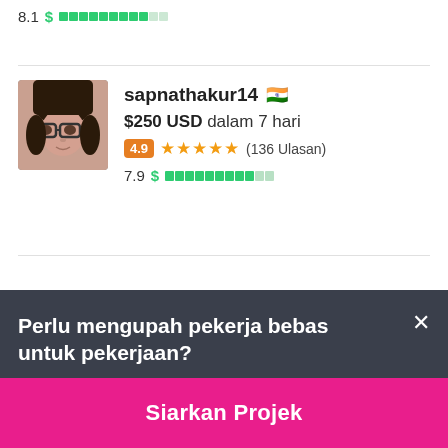8.1 $ [redacted bar]
[Figure (screenshot): Profile card for sapnathakur14 from India with avatar photo, bid of $250 USD in 7 days, rating 4.9 with 5 stars (136 Ulasan), and score 7.9]
sapnathakur14 🇮🇳
$250 USD dalam 7 hari
4.9 ★★★★★ (136 Ulasan)
7.9 $ [redacted bar]
Perlu mengupah pekerja bebas untuk pekerjaan?
Siarkan Projek